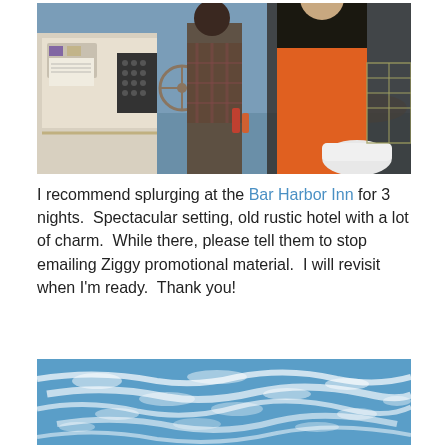[Figure (photo): Photo of people on a fishing boat. A person wearing an orange apron/bib is visible on the right, another person in a plaid shirt is in the center, and boat equipment including a steering wheel and control panels are visible. Lobster traps can be seen on the right side. Water and rocky shoreline visible in background.]
I recommend splurging at the Bar Harbor Inn for 3 nights.  Spectacular setting, old rustic hotel with a lot of charm.  While there, please tell them to stop emailing Ziggy promotional material.  I will revisit when I'm ready.  Thank you!
[Figure (photo): Photo of a blue sky with streaks of white cirrus clouds.]